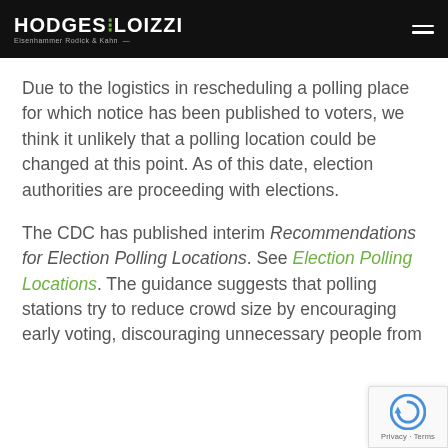HODGES LOIZZI — Eisenhammer Rodick & Kahn
Due to the logistics in rescheduling a polling place for which notice has been published to voters, we think it unlikely that a polling location could be changed at this point. As of this date, election authorities are proceeding with elections.
The CDC has published interim Recommendations for Election Polling Locations. See Election Polling Locations. The guidance suggests that polling stations try to reduce crowd size by encouraging early voting, discouraging unnecessary people from